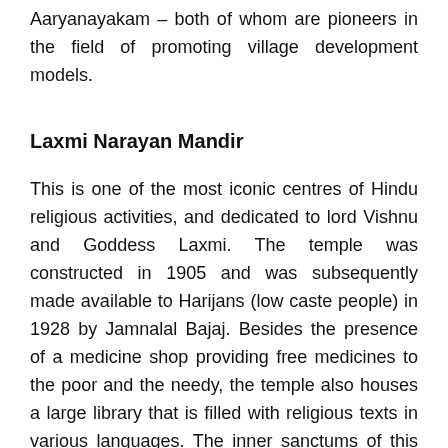Aaryanayakam – both of whom are pioneers in the field of promoting village development models.
Laxmi Narayan Mandir
This is one of the most iconic centres of Hindu religious activities, and dedicated to lord Vishnu and Goddess Laxmi. The temple was constructed in 1905 and was subsequently made available to Harijans (low caste people) in 1928 by Jamnalal Bajaj. Besides the presence of a medicine shop providing free medicines to the poor and the needy, the temple also houses a large library that is filled with religious texts in various languages. The inner sanctums of this religious centre are made of marble.